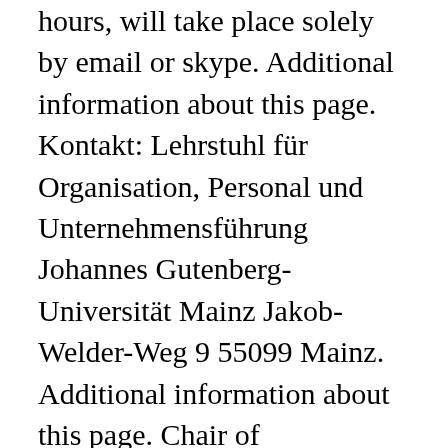hours, will take place solely by email or skype. Additional information about this page. Kontakt: Lehrstuhl für Organisation, Personal und Unternehmensführung Johannes Gutenberg-Universität Mainz Jakob-Welder-Weg 9 55099 Mainz. Additional information about this page. Chair of International Finance Johannes Gutenberg Universität Johannes-von-Müller-Weg 2 55128 Mainz. Additional information about this page. Raum 01-230 Phone: 06131.39-29837 Fax: 06131.39-25588 Chair of International Finance Johannes Gutenberg Universität Johannes-von-Müller-Weg 2 55128 Mainz. E-Mail: m.dreher@uni-mainz... 55128 Mainz . Member of the Executive Committee of the European Finance